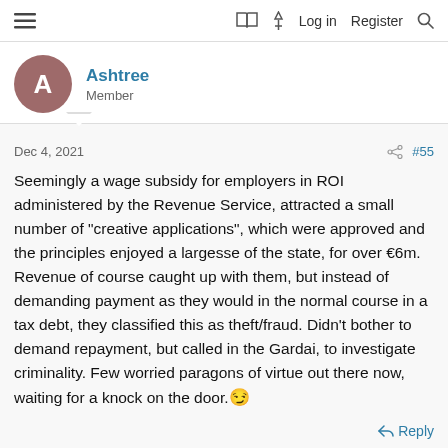≡  🔖  ⚡  Log in  Register  🔍
Ashtree
Member
Dec 4, 2021   #55
Seemingly a wage subsidy for employers in ROI administered by the Revenue Service, attracted a small number of "creative applications", which were approved and the principles enjoyed a largesse of the state, for over €6m.
Revenue of course caught up with them, but instead of demanding payment as they would in the normal course in a tax debt, they classified this as theft/fraud. Didn't bother to demand repayment, but called in the Gardai, to investigate criminality. Few worried paragons of virtue out there now, waiting for a knock on the door. 😏
Reply